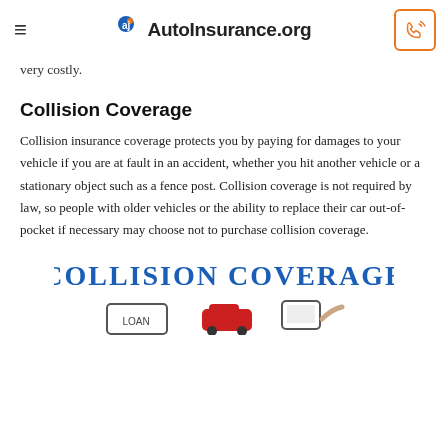AutoInsurance.org
very costly.
Collision Coverage
Collision insurance coverage protects you by paying for damages to your vehicle if you are at fault in an accident, whether you hit another vehicle or a stationary object such as a fence post. Collision coverage is not required by law, so people with older vehicles or the ability to replace their car out-of-pocket if necessary may choose not to purchase collision coverage.
[Figure (illustration): Hand-drawn whiteboard style illustration showing 'COLLISION COVERAGE' text in blue marker lettering, with illustrated icons of a car loan, a red car, and a smartphone below.]